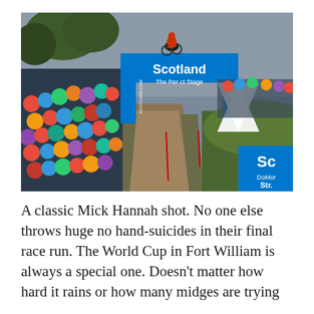[Figure (photo): A mountain bike rider performing a no-hands trick (no hand-suicide) mid-air over a dirt downhill race track at Fort William, Scotland. A large blue archway reads 'Scotland The Perfect Stage'. Crowds of spectators line the left side of the course. A large white X structure is visible on the right. Overcast sky with trees in background.]
A classic Mick Hannah shot. No one else throws huge no hand-suicides in their final race run. The World Cup in Fort William is always a special one. Doesn't matter how hard it rains or how many midges are trying